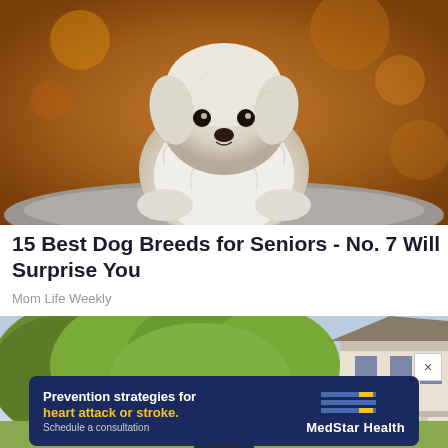[Figure (photo): A small fluffy white dog (Maltese or similar breed) sitting on a gray surface with a blurred orange/autumn background]
15 Best Dog Breeds for Seniors - No. 7 Will Surprise You
Mom Life Weekly
[Figure (photo): Outdoor scene with trees and a white house in the background, person partially visible wearing a dark cap]
[Figure (other): MedStar Health advertisement: Prevention strategies for heart attack or stroke. Schedule a consultation.]